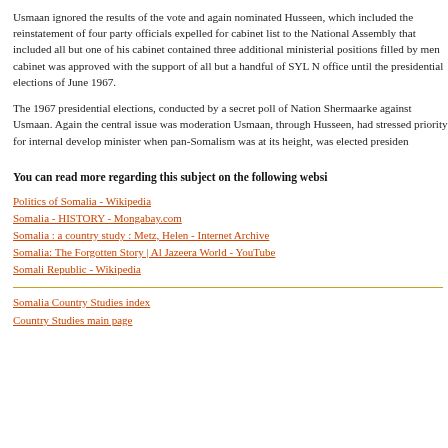Usmaan ignored the results of the vote and again nominated Husseen, which included the reinstatement of four party officials expelled for cabinet list to the National Assembly that included all but one of his cabinet contained three additional ministerial positions filled by men cabinet was approved with the support of all but a handful of SYL N office until the presidential elections of June 1967.

The 1967 presidential elections, conducted by a secret poll of Nation Shermaarke against Usmaan. Again the central issue was moderation Usmaan, through Husseen, had stressed priority for internal develop minister when pan-Somalism was at its height, was elected presiden
You can read more regarding this subject on the following websi
Politics of Somalia - Wikipedia
Somalia - HISTORY - Mongabay.com
Somalia : a country study : Metz, Helen - Internet Archive
Somalia: The Forgotten Story | Al Jazeera World - YouTube
Somali Republic - Wikipedia
Somalia Country Studies index
Country Studies main page